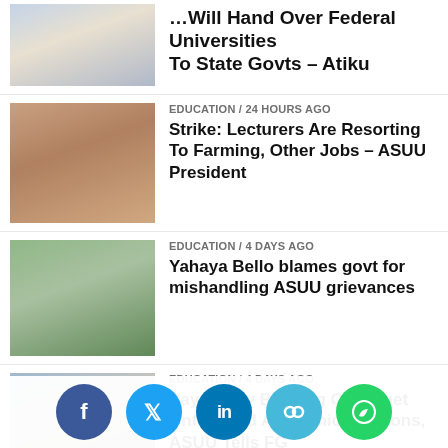[Figure (photo): Portrait photo of a man in a light colored outfit (partially visible at top)]
...Will Hand Over Federal Universities To State Govts – Atiku
[Figure (photo): Portrait photo of a man seated at a desk]
EDUCATION / 24 hours ago
Strike: Lecturers Are Resorting To Farming, Other Jobs – ASUU President
[Figure (photo): Portrait photo of a man in traditional northern Nigerian attire]
EDUCATION / 4 days ago
Yahaya Bello blames govt for mishandling ASUU grievances
[Figure (photo): Photo of men in a meeting setting with documents]
EDUCATION / 4 days ago
Pay Salary Backlog Or Forget Unfinished Academic Sessions, ASUU Tells FG
[Figure (photo): Portrait photo of an elderly man in formal/traditional attire]
BUSINESS / 4 days ago
Debt servicing gulps N13.17tn under Buhari, education suffers